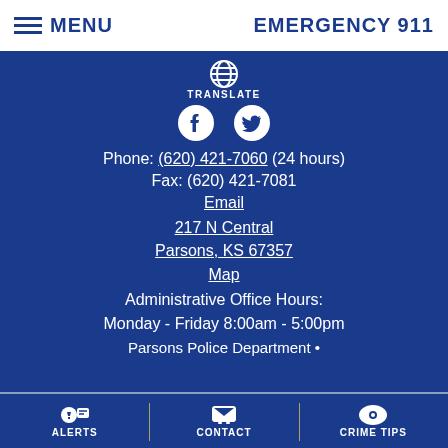MENU  EMERGENCY 911
[Figure (logo): Globe/translate icon with TRANSLATE label]
[Figure (logo): Facebook and Twitter social media icons]
Phone: (620) 421-7060 (24 hours)
Fax: (620) 421-7081
Email
217 N Central
Parsons, KS 67357
Map
Administrative Office Hours:
Monday - Friday 8:00am - 5:00pm
Parsons Police Department •
ALERTS  CONTACT  CRIME TIPS